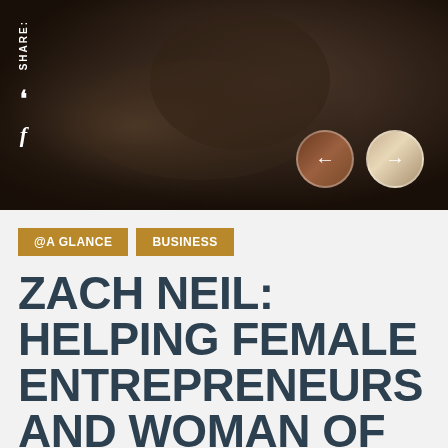[Figure (photo): Dark-toned hero image with dim overlay, showing a person in background, partially obscured. Social media share icons on the left sidebar (bookmark and Facebook icons). Two circular navigation thumbnails on the bottom right with left and right arrows.]
@A GLANCE
BUSINESS
ZACH NEIL: HELPING FEMALE ENTREPRENEURS AND WOMAN OF COLOR OWNED BUSINESSES